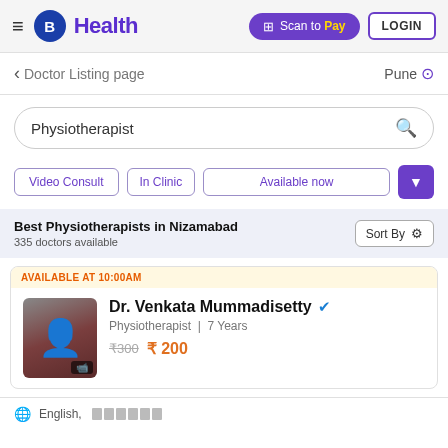B Health — Scan to Pay | LOGIN
< Doctor Listing page   Pune (location pin)
Physiotherapist (search box)
Video Consult | In Clinic | Available now | (filter icon)
Best Physiotherapists in Nizamabad
335 doctors available
AVAILABLE AT 10:00AM
Dr. Venkata Mummadisetty (verified)
Physiotherapist | 7 Years
₹300 ₹ 200
English, (language boxes)